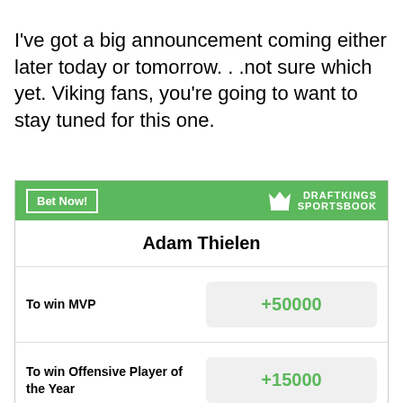I've got a big announcement coming either later today or tomorrow. . .not sure which yet.  Viking fans, you're going to want to stay tuned for this one.
[Figure (screenshot): DraftKings Sportsbook widget showing odds for Adam Thielen: To win MVP +50000, To win Offensive Player of the Year +15000, Most Receiving Yards in League +10000]